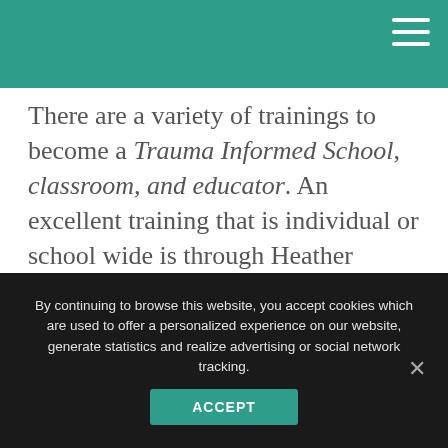There are a variety of trainings to become a Trauma Informed School, classroom, and educator. An excellent training that is individual or school wide is through Heather Forbes and the Beyond Consequences Institute. Check out their website and see if this program works for you. You can also get more information about working with stress and trauma from The Imagine Project: Empowering Kids to Rise Above Drama, Trauma, and Stress (Yampa Valley Publishing, 2018)
By continuing to browse this website, you accept cookies which are used to offer a personalized experience on our website, generate statistics and realize advertising or social network tracking.